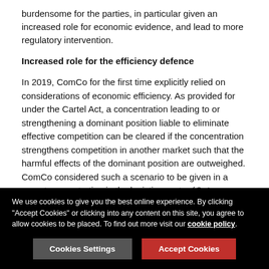burdensome for the parties, in particular given an increased role for economic evidence, and lead to more regulatory intervention.
Increased role for the efficiency defence
In 2019, ComCo for the first time explicitly relied on considerations of economic efficiency. As provided for under the Cartel Act, a concentration leading to or strengthening a dominant position liable to eliminate effective competition can be cleared if the concentration strengthens competition in another market such that the harmful effects of the dominant position are outweighed. ComCo considered such a scenario to be given in a recent concentration in the logistics sector (Gateway Basel Nord). Concretely, three companies in the cargo sector planned a large terminal with a gateway function for combined transport. The companies were vertically
We use cookies to give you the best online experience. By clicking "Accept Cookies" or clicking into any content on this site, you agree to allow cookies to be placed. To find out more visit our cookie policy.